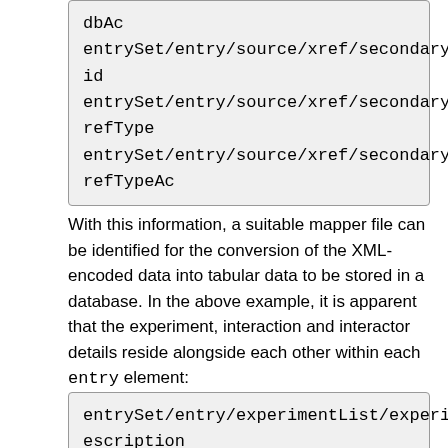dbAc
entrySet/entry/source/xref/secondaryRef/@id
entrySet/entry/source/xref/secondaryRef/@refType
entrySet/entry/source/xref/secondaryRef/@refTypeAc
With this information, a suitable mapper file can be identified for the conversion of the XML-encoded data into tabular data to be stored in a database. In the above example, it is apparent that the experiment, interaction and interactor details reside alongside each other within each entry element:
entrySet/entry/experimentList/experimentDescription
entrySet/entry/interactionList/interaction
entrySet/entry/interactionList/interaction/participantList/participant